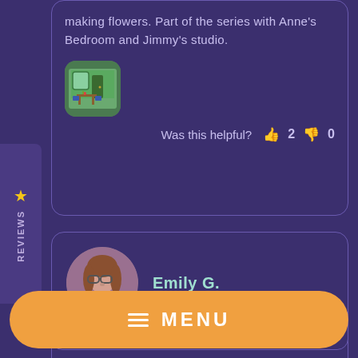making flowers. Part of the series with Anne's Bedroom and Jimmy's studio.
[Figure (photo): Thumbnail image of a miniature room scene with green walls and furniture]
Was this helpful? 👍 2  👎 0
[Figure (photo): Circular avatar photo of Emily G., a woman with glasses and brown hair]
Emily G.
[Figure (screenshot): Partial card showing thumbnail of Town DS013 DIY product]
Town DS013 DIY
MENU